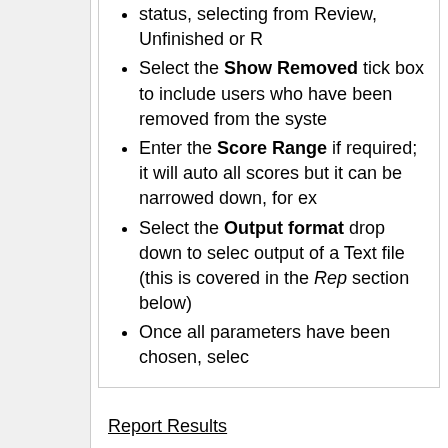status, selecting from Review, Unfinished or R...
Select the Show Removed tick box to include users who have been removed from the syste...
Enter the Score Range if required; it will auto... all scores but it can be narrowed down, for ex...
Select the Output format drop down to selec... output of a Text file (this is covered in the Rep... section below)
Once all parameters have been chosen, selec...
Report Results
The results will appear in the format specified in the fi...
Report Output
The results of the report can be reviewed online, print...
Reviewing Online